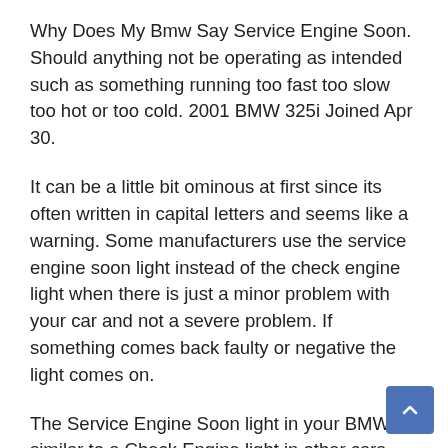Why Does My Bmw Say Service Engine Soon. Should anything not be operating as intended such as something running too fast too slow too hot or too cold. 2001 BMW 325i Joined Apr 30.
It can be a little bit ominous at first since its often written in capital letters and seems like a warning. Some manufacturers use the service engine soon light instead of the check engine light when there is just a minor problem with your car and not a severe problem. If something comes back faulty or negative the light comes on.
The Service Engine Soon light in your BMW is similar to a Check Engine light in other cars. The Service Engine Soon SES notification